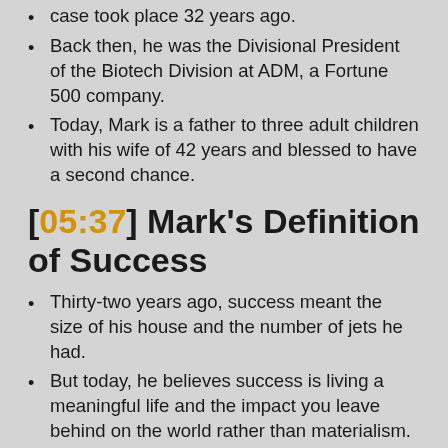case took place 32 years ago.
Back then, he was the Divisional President of the Biotech Division at ADM, a Fortune 500 company.
Today, Mark is a father to three adult children with his wife of 42 years and blessed to have a second chance.
[05:37] Mark's Definition of Success
Thirty-two years ago, success meant the size of his house and the number of jets he had.
But today, he believes success is living a meaningful life and the impact you leave behind on the world rather than materialism.
[05:57] “I would feel strongly that success is really more a life of significance, kind of what you’re leaving